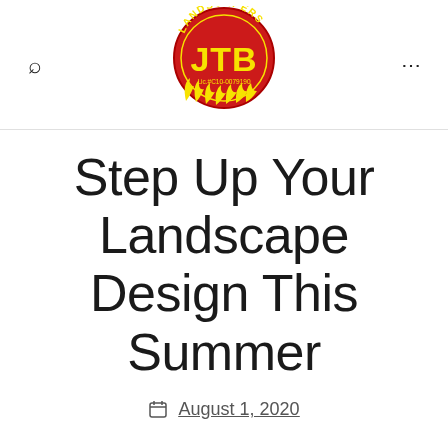[Figure (logo): JTB Landscapers logo: red circle with yellow text 'LANDSCAPERS' at top, large yellow 'JTB' in center, 'Lic.#C10-0079190' below, yellow flame/grass decorative elements at bottom.]
Step Up Your Landscape Design This Summer
August 1, 2020